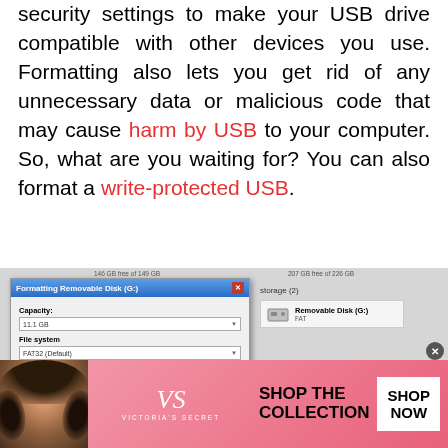security settings to make your USB drive compatible with other devices you use. Formatting also lets you get rid of any unnecessary data or malicious code that may cause harm by USB to your computer. So, what are you waiting for? You can also format a write-protected USB.
[Figure (screenshot): Screenshot showing Windows 'Formatting Removable Disk' dialog box with Capacity, File system (FAT32 Default), Allocation unit size (8192 bytes), Restore device defaults button, Volume label field, and Format options with Quick Format checkbox. Behind it is a Windows Explorer window showing Storage (2) with a Removable Disk (G:) entry.]
[Figure (photo): Victoria's Secret advertisement banner showing a woman with curly hair on the left, VS logo in the center with 'VICTORIA'S SECRET' text, 'SHOP THE COLLECTION' text in bold, and a 'SHOP NOW' button on the right.]